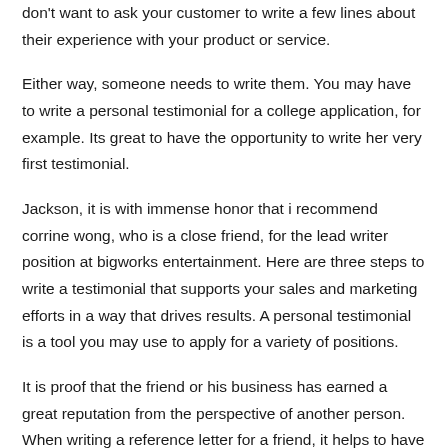don't want to ask your customer to write a few lines about their experience with your product or service.
Either way, someone needs to write them. You may have to write a personal testimonial for a college application, for example. Its great to have the opportunity to write her very first testimonial.
Jackson, it is with immense honor that i recommend corrine wong, who is a close friend, for the lead writer position at bigworks entertainment. Here are three steps to write a testimonial that supports your sales and marketing efforts in a way that drives results. A personal testimonial is a tool you may use to apply for a variety of positions.
It is proof that the friend or his business has earned a great reputation from the perspective of another person. When writing a reference letter for a friend, it helps to have a clear understanding of what a letter of reference is, how it should be constructed and